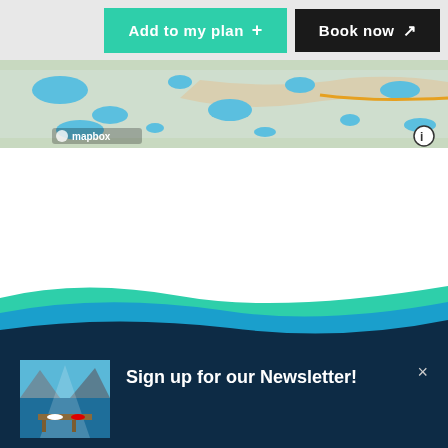[Figure (screenshot): Top navigation bar with 'Add to my plan +' teal button and 'Book now ↗' black button on gray background]
[Figure (map): Mapbox map strip showing terrain with blue lakes/water bodies, with mapbox logo and info icon visible]
[Figure (illustration): Decorative wave divider section with teal and blue wave shapes transitioning to dark navy background]
[Figure (photo): Small thumbnail photo of a fjord/dock scene with mountains and blue water, used in newsletter signup panel]
Sign up for our Newsletter!
Subscribe now for inspiration, travel tips and more.
Subscribe now